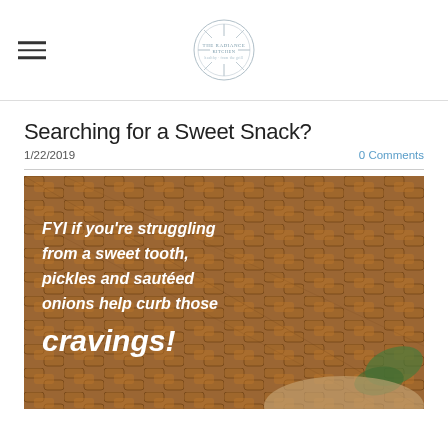The Radiance Kitchen (logo)
Searching for a Sweet Snack?
1/22/2019
0 Comments
[Figure (photo): Wicker basket background with white bold italic text overlay reading: FYI if you're struggling from a sweet tooth, pickles and sautéed onions help curb those cravings!]